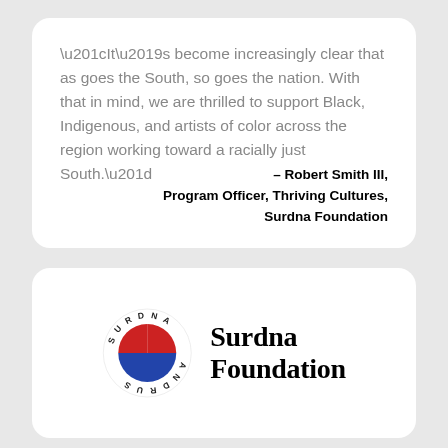“It’s become increasingly clear that as goes the South, so goes the nation. With that in mind, we are thrilled to support Black, Indigenous, and artists of color across the region working toward a racially just South.”
– Robert Smith III, Program Officer, Thriving Cultures, Surdna Foundation
[Figure (logo): Surdna Foundation logo: a circle with red top half and blue bottom half, with the text SURDNA ANDRUS arranged in a circular pattern around it, next to the text 'Surdna Foundation' in bold serif font]